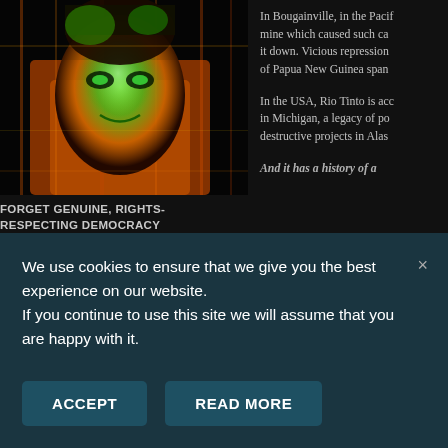[Figure (photo): Distorted, glitch-art style image of a person's face with green and orange color tones on dark background]
FORGET GENUINE, RIGHTS-RESPECTING DEMOCRACY
[Figure (photo): Black and white industrial or mechanical image, partially visible]
In Bougainville, in the Pacif... mine which caused such ca... it down. Vicious repression ... of Papua New Guinea span...
In the USA, Rio Tinto is acc... in Michigan, a legacy of po... destructive projects in Alas...
And it has a history of a...
We use cookies to ensure that we give you the best experience on our website.
If you continue to use this site we will assume that you are happy with it.
×
ACCEPT
READ MORE